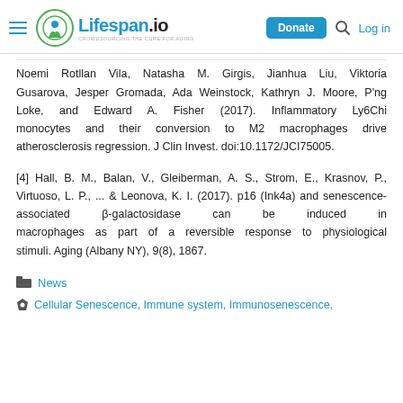Lifespan.io | Donate | Log in
Noemi Rotllan Vila, Natasha M. Girgis, Jianhua Liu, Viktoria Gusarova, Jesper Gromada, Ada Weinstock, Kathryn J. Moore, P'ng Loke, and Edward A. Fisher (2017). Inflammatory Ly6Chi monocytes and their conversion to M2 macrophages drive atherosclerosis regression. J Clin Invest. doi:10.1172/JCI75005.
[4] Hall, B. M., Balan, V., Gleiberman, A. S., Strom, E., Krasnov, P., Virtuoso, L. P., ... & Leonova, K. I. (2017). p16 (Ink4a) and senescence-associated β-galactosidase can be induced in macrophages as part of a reversible response to physiological stimuli. Aging (Albany NY), 9(8), 1867.
News
Cellular Senescence, Immune system, Immunosenescence,